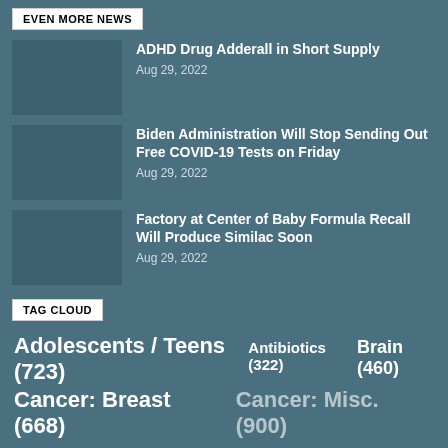EVEN MORE NEWS
ADHD Drug Adderall in Short Supply
Aug 29, 2022
Biden Administration Will Stop Sending Out Free COVID-19 Tests on Friday
Aug 29, 2022
Factory at Center of Baby Formula Recall Will Produce Similac Soon
Aug 29, 2022
TAG CLOUD
Adolescents / Teens (723)
Antibiotics (322)
Brain (460)
Cancer: Breast (668)
Cancer: Misc. (900)